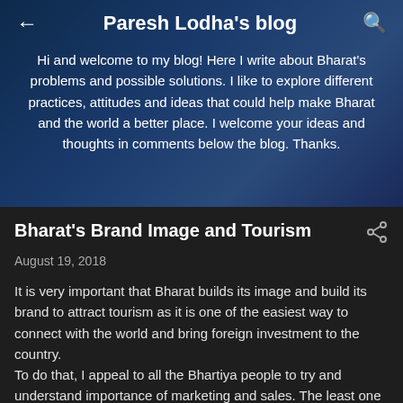Paresh Lodha's blog
Hi and welcome to my blog! Here I write about Bharat's problems and possible solutions. I like to explore different practices, attitudes and ideas that could help make Bharat and the world a better place. I welcome your ideas and thoughts in comments below the blog. Thanks.
Bharat's Brand Image and Tourism
August 19, 2018
It is very important that Bharat builds its image and build its brand to attract tourism as it is one of the easiest way to connect with the world and bring foreign investment to the country.
To do that, I appeal to all the Bhartiya people to try and understand importance of marketing and sales. The least one can do is put more positive things in public forums about the